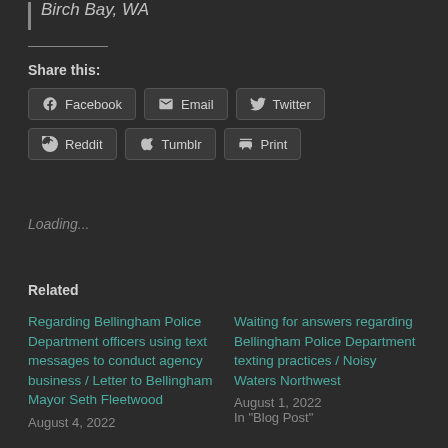Birch Bay, WA
Share this:
Facebook Email Twitter Reddit Tumblr Print
Loading...
Related
Regarding Bellingham Police Department officers using text messages to conduct agency business / Letter to Bellingham Mayor Seth Fleetwood
August 4, 2022
Waiting for answers regarding Bellingham Police Department texting practices / Noisy Waters Northwest
August 1, 2022
In "Blog Post"